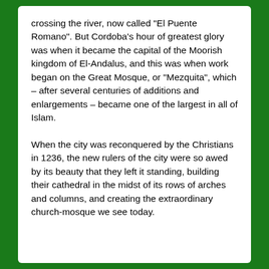crossing the river, now called "El Puente Romano". But Cordoba's hour of greatest glory was when it became the capital of the Moorish kingdom of El-Andalus, and this was when work began on the Great Mosque, or "Mezquita", which – after several centuries of additions and enlargements – became one of the largest in all of Islam.
When the city was reconquered by the Christians in 1236, the new rulers of the city were so awed by its beauty that they left it standing, building their cathedral in the midst of its rows of arches and columns, and creating the extraordinary church-mosque we see today.